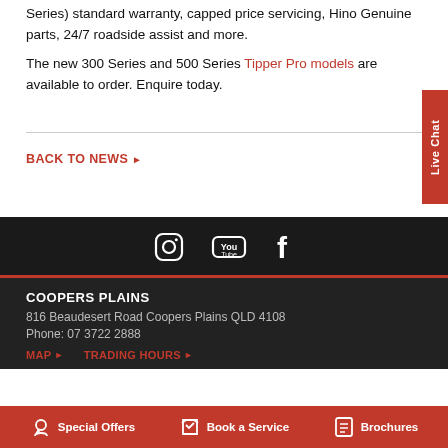Series) standard warranty, capped price servicing, Hino Genuine parts, 24/7 roadside assist and more.
The new 300 Series and 500 Series Tipper Pro models are available to order. Enquire today.
BACK TO NEWS ▶
[Figure (other): Social media icons: Instagram, YouTube, Facebook on dark background]
COOPERS PLAINS
816 Beaudesert Road Coopers Plains QLD 4108
Phone: 07 3722 2888
MAP ▶   TRADING HOURS ▶
Special Offers   Book a Service   Brochures